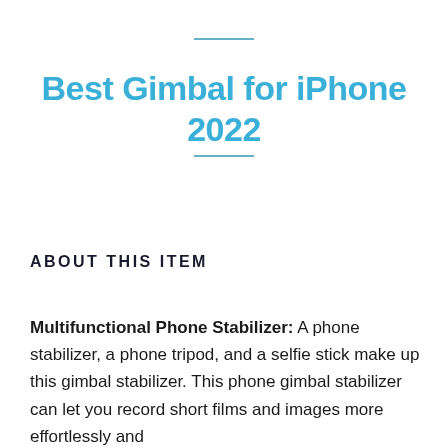Best Gimbal for iPhone 2022
ABOUT THIS ITEM
Multifunctional Phone Stabilizer: A phone stabilizer, a phone tripod, and a selfie stick make up this gimbal stabilizer. This phone gimbal stabilizer can let you record short films and images more effortlessly and